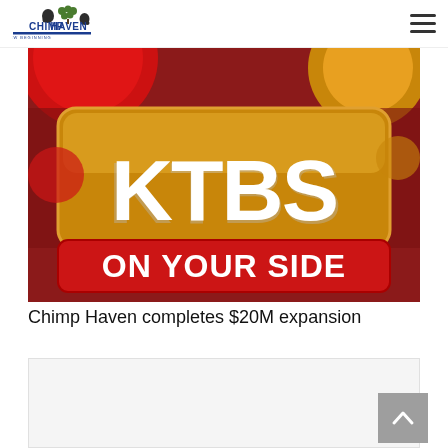Chimp Haven — A New Beginning (logo) | navigation menu
[Figure (photo): KTBS 'On Your Side' TV station logo on a red and gold background with decorative dots pattern]
Chimp Haven completes $20M expansion
[Figure (photo): Partially visible second image below the caption, light gray background, content not fully visible]